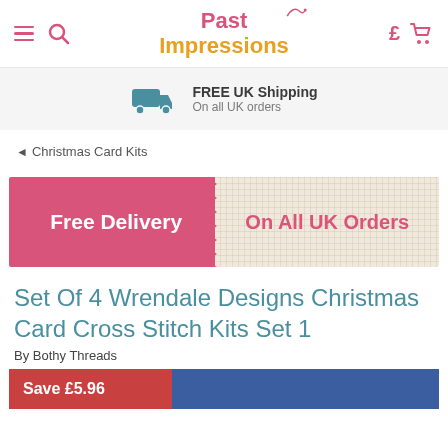Past Impressions
FREE UK Shipping On all UK orders
◄ Christmas Card Kits
[Figure (infographic): Free Delivery On All UK Orders promotional banner with pink left half and textured linen right half]
Set Of 4 Wrendale Designs Christmas Card Cross Stitch Kits Set 1
By Bothy Threads
Save £5.96